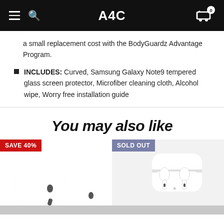A4C
a small replacement cost with the BodyGuardz Advantage Program.
INCLUDES: Curved, Samsung Galaxy Note9 tempered glass screen protector, Microfiber cleaning cloth, Alcohol wipe, Worry free installation guide
You may also like
[Figure (photo): White earbuds/AirPods Pro style earphones with SAVE 40% badge]
[Figure (photo): White AirPods with charging case, SOLD OUT badge]